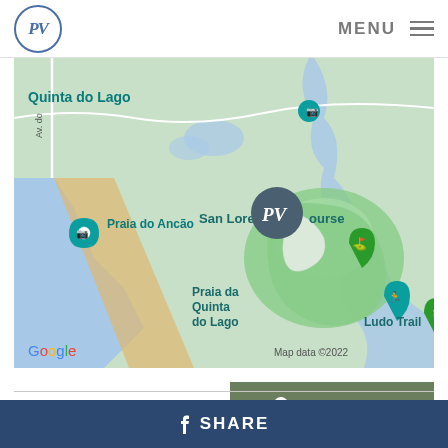PV | MENU
[Figure (map): Google Maps view showing Quinta do Lago area in Portugal, including San Lorenzo Golf Course, Praia do Ancão, Praia da Quinta do Lago, and Ludo Trail. A PV logo marker is placed on the map. Google branding and 'Map data ©2022' shown.]
VIEW MAP
SHARE